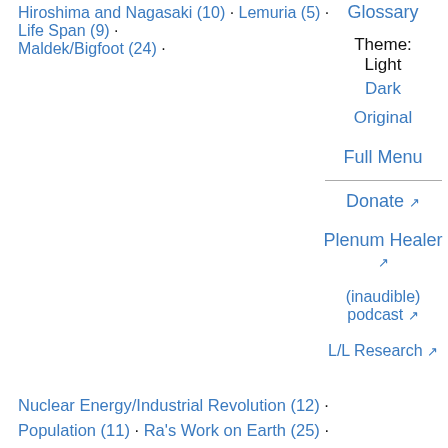Hiroshima and Nagasaki (10) · Lemuria (5) · Life Span (9) · Maldek/Bigfoot (24) ·
Glossary
Theme:
Light
Dark
Original
Full Menu
Donate ↗
Plenum Healer ↗
(inaudible) podcast ↗
L/L Research ↗
Nuclear Energy/Industrial Revolution (12) · Population (11) · Ra's Work on Earth (25) ·